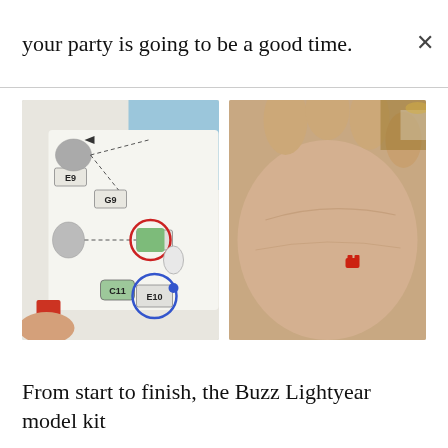your party is going to be a good time.
[Figure (photo): Left photo showing a Buzz Lightyear model kit instruction sheet with parts labeled E9, G9, B10, C11, E10, with red and blue circles highlighting certain parts. Right photo showing a person's palm holding a tiny red piece from the model kit.]
From start to finish, the Buzz Lightyear model kit